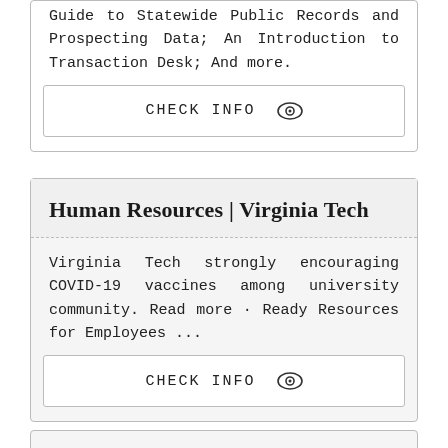Guide to Statewide Public Records and Prospecting Data; An Introduction to Transaction Desk; And more.
CHECK INFO
Human Resources | Virginia Tech
Virginia Tech strongly encouraging COVID-19 vaccines among university community. Read more · Ready Resources for Employees ...
CHECK INFO